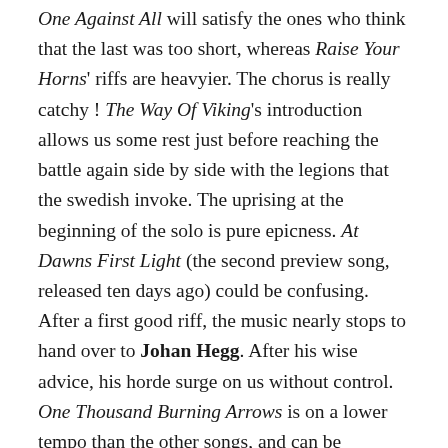One Against All will satisfy the ones who think that the last was too short, whereas Raise Your Horns' riffs are heavyier. The chorus is really catchy ! The Way Of Viking's introduction allows us some rest just before reaching the battle again side by side with the legions that the swedish invoke. The uprising at the beginning of the solo is pure epicness. At Dawns First Light (the second preview song, released ten days ago) could be confusing. After a first good riff, the music nearly stops to hand over to Johan Hegg. After his wise advice, his horde surge on us without control.
One Thousand Burning Arrows is on a lower tempo than the other songs, and can be considerate as the epic ballad of the record. After a mesmerising outro, Johan Hegg starts Vengeance Is My Name. Unusual